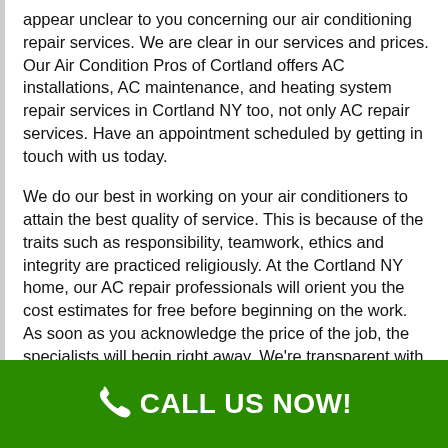appear unclear to you concerning our air conditioning repair services. We are clear in our services and prices. Our Air Condition Pros of Cortland offers AC installations, AC maintenance, and heating system repair services in Cortland NY too, not only AC repair services. Have an appointment scheduled by getting in touch with us today.
We do our best in working on your air conditioners to attain the best quality of service. This is because of the traits such as responsibility, teamwork, ethics and integrity are practiced religiously. At the Cortland NY home, our AC repair professionals will orient you the cost estimates for free before beginning on the work. As soon as you acknowledge the price of the job, the specialists will begin right away. We're transparent with our price ranges and services, so feel free to inquire our techs any kind of questions about the air conditioning repair services provided. In Cortland NY, our Air Condition Pros of
CALL US NOW!